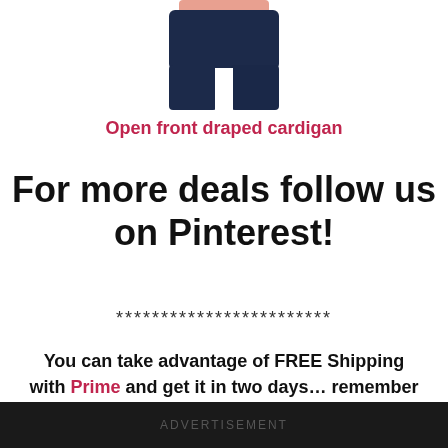[Figure (photo): Partial photo of a person wearing dark jeans, cropped at torso/legs, on white background]
Open front draped cardigan
For more deals follow us on Pinterest!
************************
You can take advantage of FREE Shipping with Prime and get it in two days… remember you can try prime for FREE for 30 days.
ADVERTISEMENT